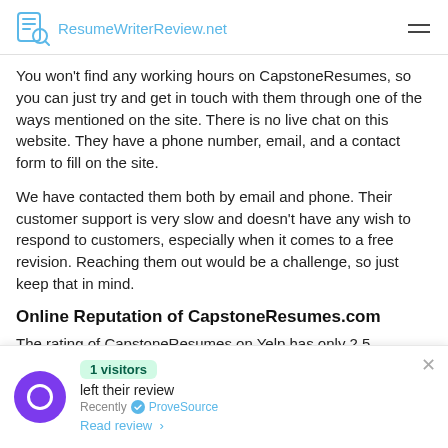ResumeWriterReview.net
You won't find any working hours on CapstoneResumes, so you can just try and get in touch with them through one of the ways mentioned on the site. There is no live chat on this website. They have a phone number, email, and a contact form to fill on the site.
We have contacted them both by email and phone. Their customer support is very slow and doesn't have any wish to respond to customers, especially when it comes to a free revision. Reaching them out would be a challenge, so just keep that in mind.
Online Reputation of CapstoneResumes.com
The rating of CapstoneResumes on Yelp has only 2.5
1 visitors left their review Recently ProveSource Read review